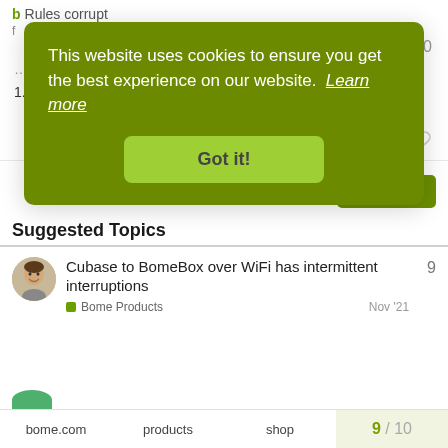[Figure (screenshot): Website cookie consent overlay on a forum page. The overlay is a dark green rounded rectangle containing the text 'This website uses cookies to ensure you get the best experience on our website. Learn more' with a bright green 'Got it!' button. Behind the overlay is a forum page showing 'Rules corrupt' topic title, post content ending in 'rsion 1.5.', post action icons (like and link), a Reply button, 'Suggested Topics' section header, and a topic row for 'Cubase to BomeBox over WiFi has intermittent interruptions' in Bome Products category dated Nov '21 with 9 replies. Bottom navigation bar shows bome.com, products, shop links and page progress '9 / 10'.]